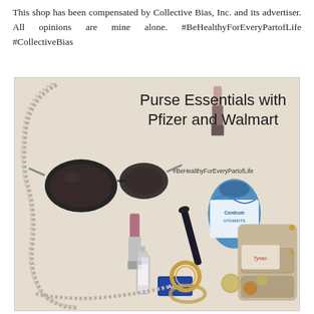This shop has been compensated by Collective Bias, Inc. and its advertiser. All opinions are mine alone. #BeHealthyForEveryPartofLife #CollectiveBias
[Figure (photo): Flat lay photo of purse essentials on a beige background including sunglasses, lipstick, mascara, perfume, Centrum Vitamints bottle, Advil box, lip gloss, ring, coins, small clutch purse, and chain strap. Text overlay reads 'Purse Essentials with Pfizer and Walmart' and '#BeHealthyForEveryPartofLife'.]